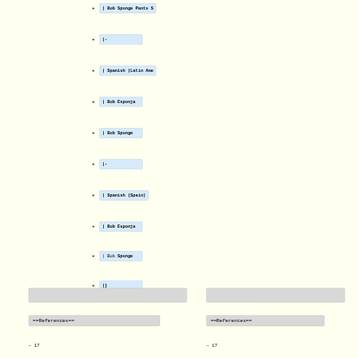+ | Bob Sponge Pants S
+ |-
+ | Spanish (Latin Ame
+ | Bob Esponja
+ | Bob Sponge
+ |-
+ | Spanish (Spain)
+ | Bob Esponja
+ | Bob Sponge
+ |}
==References==
==References==